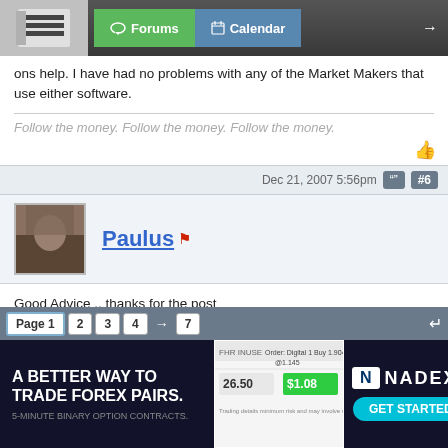Forums | Calendar
ons help. I have had no problems with any of the Market Makers that use either software.
Follow the money. Follow the money. Follow the money.
Dec 21, 2007 5:56pm  #6
Paulus
Good Advice .. thanks for the post
I love simple..so many times traders try to complicate things by adding several indicators all conspiring against one another.
My approach is simple..... You need an edge once found carve out some rules,dont expect to win every trade.I would trade a system that gave me 40% winners with a risk reward of 3:1....if your bank is the right size and your stake is in the correct proportion youll be quids in
Page 1  2  3  4  →  7
[Figure (other): Ad banner: A BETTER WAY TO TRADE FOREX PAIRS. 5-MINUTE BINARY OPTION CONTRACTS. NADEX GET STARTED]